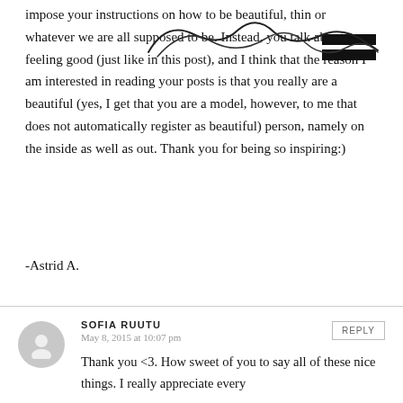impose your instructions on how to be beautiful, thin or whatever we are all supposed to be. Instead, you talk about feeling good (just like in this post), and I think that the reason I am interested in reading your posts is that you really are a beautiful (yes, I get that you are a model, however, to me that does not automatically register as beautiful) person, namely on the inside as well as out. Thank you for being so inspiring:)
-Astrid A.
SOFIA RUUTU
May 8, 2015 at 10:07 pm
Thank you <3. How sweet of you to say all of these nice things. I really appreciate every